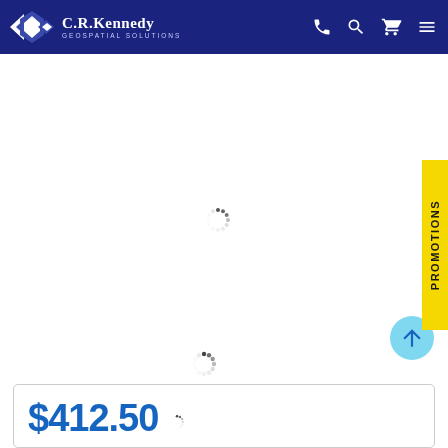[Figure (logo): C.R. Kennedy Geospatial Solutions logo with diamond/arrow icon on dark blue navigation bar]
[Figure (screenshot): Loading spinner (circular dashed indicator) centered in upper content area]
[Figure (infographic): Yellow vertical PROMOTIONS tab on right edge]
[Figure (screenshot): Loading spinner (circular dashed indicator) centered in lower content area]
[Figure (screenshot): Cyan circular scroll-to-top button with upward arrow]
$412.50